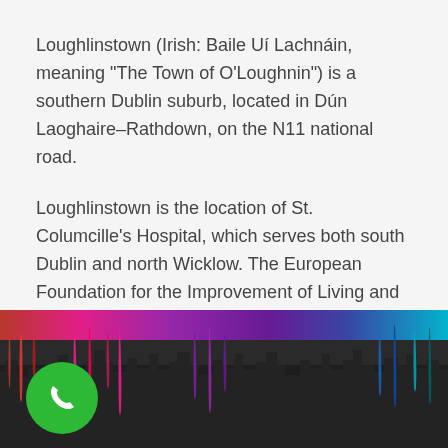Loughlinstown (Irish: Baile Uí Lachnáin, meaning "The Town of O'Loughnin") is a southern Dublin suburb, located in Dún Laoghaire–Rathdown, on the N11 national road.
Loughlinstown is the location of St. Columcille's Hospital, which serves both south Dublin and north Wicklow. The European Foundation for the Improvement of Living and Working Conditions, an EU body, is located in Loughlinstown House.
[Figure (illustration): Colorful dripping paint cityscape silhouette banner with greens, reds, purples, and blues over a dark background. A green circular phone call button is in the lower left.]